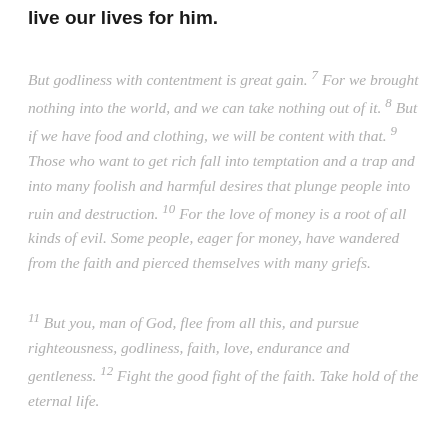live our lives for him.
But godliness with contentment is great gain. 7 For we brought nothing into the world, and we can take nothing out of it. 8 But if we have food and clothing, we will be content with that. 9 Those who want to get rich fall into temptation and a trap and into many foolish and harmful desires that plunge people into ruin and destruction. 10 For the love of money is a root of all kinds of evil. Some people, eager for money, have wandered from the faith and pierced themselves with many griefs.
11 But you, man of God, flee from all this, and pursue righteousness, godliness, faith, love, endurance and gentleness. 12 Fight the good fight of the faith. Take hold of the eternal life.